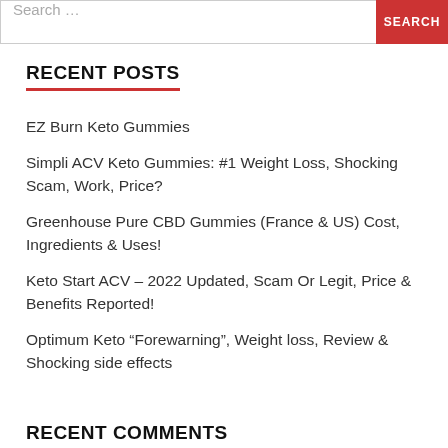Search ...
RECENT POSTS
EZ Burn Keto Gummies
Simpli ACV Keto Gummies: #1 Weight Loss, Shocking Scam, Work, Price?
Greenhouse Pure CBD Gummies (France & US) Cost, Ingredients & Uses!
Keto Start ACV – 2022 Updated, Scam Or Legit, Price & Benefits Reported!
Optimum Keto “Forewarning”, Weight loss, Review & Shocking side effects
RECENT COMMENTS